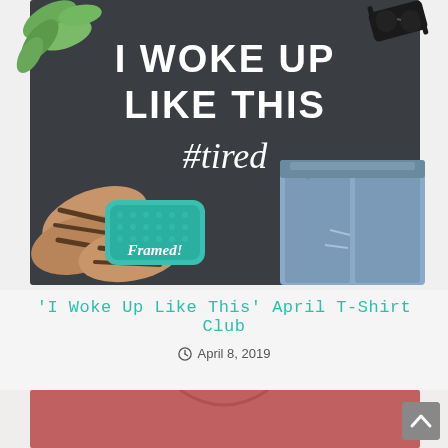[Figure (photo): Flatlay photo showing a dark charcoal heather t-shirt reading 'I WOKE UP LIKE THIS #tired' in white text, surrounded by sandals, sunglasses, denim shorts, green leaves, and a teal 'Framed!' tag on a white background.]
'I Woke Up Like This' April T-Shirt Club
April 8, 2019
[Figure (photo): Partial view of a mauve/dusty rose colored t-shirt, cropped at the top of the frame.]